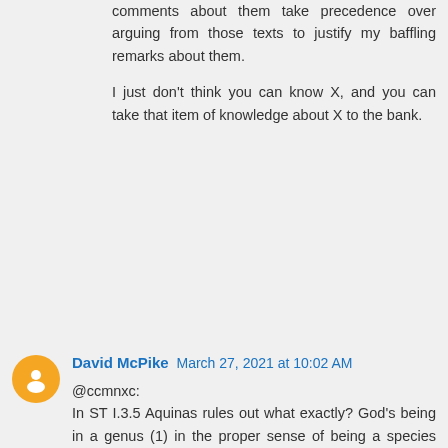comments about them take precedence over arguing from those texts to justify my baffling remarks about them.
I just don't think you can know X, and you can take that item of knowledge about X to the bank.
David McPike  March 27, 2021 at 10:02 AM
@ccmnxc:
In ST I.3.5 Aquinas rules out what exactly? God's being in a genus (1) in the proper sense of being a species contained under a genus (and this he shows in three ways), and (2) in the sense of being a reducible to some genus as its principle, since he is in reality the principle of all being, "whence it follows God is not contained in some genus as its principle." So he is a principle. But then he is contained in the logical genus of principle ('principle' can be truly predicated of him). Nonetheless, for the reason Aquinas gives, he is not really contained in any genus, that is,